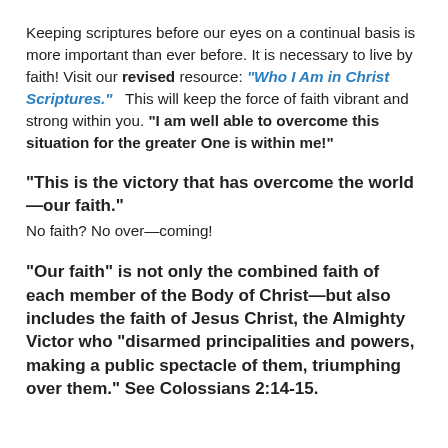Keeping scriptures before our eyes on a continual basis is more important than ever before. It is necessary to live by faith! Visit our revised resource: "Who I Am in Christ Scriptures."  This will keep the force of faith vibrant and strong within you. "I am well able to overcome this situation for the greater One is within me!"
"This is the victory that has overcome the world—our faith."
No faith? No over—coming!
"Our faith" is not only the combined faith of each member of the Body of Christ—but also includes the faith of Jesus Christ, the Almighty Victor who "disarmed principalities and powers, making a public spectacle of them, triumphing over them." See Colossians 2:14-15.